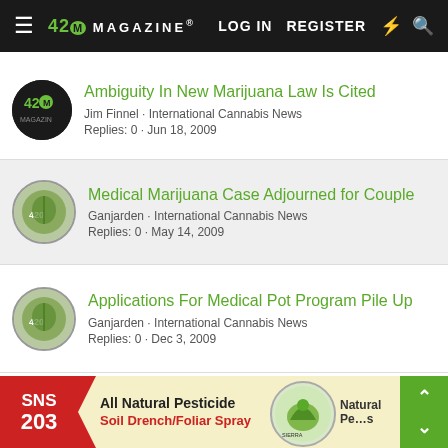420 MAGAZINE | LOG IN | REGISTER
Ambiguity In New Marijuana Law Is Cited
Jim Finnel · International Cannabis News
Replies: 0 · Jun 18, 2009
Medical Marijuana Case Adjourned for Couple
Ganjarden · International Cannabis News
Replies: 0 · May 14, 2009
Applications For Medical Pot Program Pile Up
Ganjarden · International Cannabis News
Replies: 0 · Dec 3, 2009
Share:
[Figure (screenshot): Advertisement banner: SNS 203 All Natural Pesticide Soil Drench/Foliar Spray with Sierra Natural Science logo]